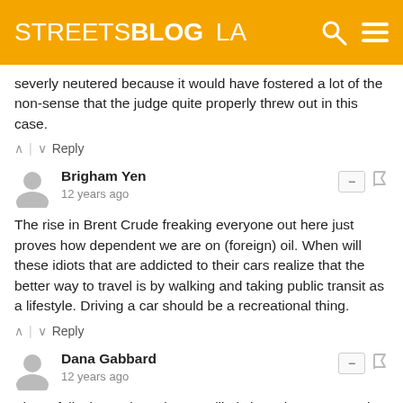STREETSBLOG LA
severly neutered because it would have fostered a lot of the non-sense that the judge quite properly threw out in this case.
↑ | ↓  Reply
Brigham Yen
12 years ago
The rise in Brent Crude freaking everyone out here just proves how dependent we are on (foreign) oil. When will these idiots that are addicted to their cars realize that the better way to travel is by walking and taking public transit as a lifestyle. Driving a car should be a recreational thing.
↑ | ↓  Reply
Dana Gabbard
12 years ago
These folks knew the suit was a likely loser but were stuck having to go through the motions after over the past decade loudly proclaiming they would stop the project. This way they